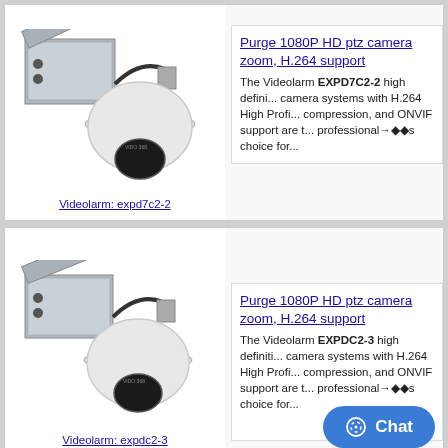[Figure (photo): Videolarm EXPD7C2-2 PTZ security camera with enclosure box]
Videolarm: expd7c2-2
Purge 1080P HD ptz camera zoom, H.264 support
The Videolarm EXPD7C2-2 high definition camera systems with H.264 High Profile compression, and ONVIF support are the professional→◆◆s choice for...
[Figure (photo): Videolarm EXPDC2-3 PTZ security camera with enclosure box]
Videolarm: expdc2-3
Purge 1080P HD ptz camera zoom, H.264 support
The Videolarm EXPDC2-3 high definition camera systems with H.264 High Profile compression, and ONVIF support are the professional→◆◆s choice for...